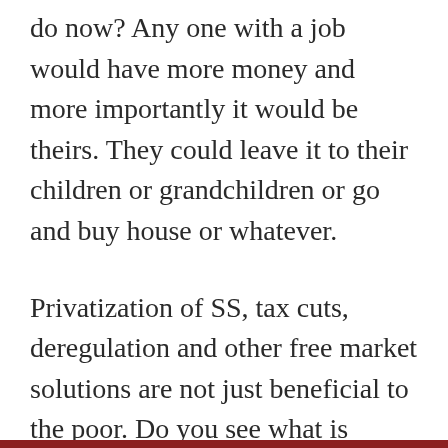do now? Any one with a job would have more money and more importantly it would be theirs. They could leave it to their children or grandchildren or go and buy house or whatever.
Privatization of SS, tax cuts, deregulation and other free market solutions are not just beneficial to the poor. Do you see what is going on right